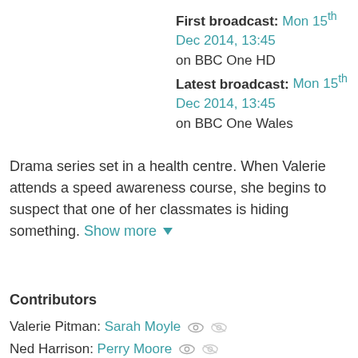First broadcast: Mon 15th Dec 2014, 13:45 on BBC One HD Latest broadcast: Mon 15th Dec 2014, 13:45 on BBC One Wales
Drama series set in a health centre. When Valerie attends a speed awareness course, she begins to suspect that one of her classmates is hiding something. Show more
Contributors
Valerie Pitman: Sarah Moyle
Ned Harrison: Perry Moore
Benny Harrison: Brett Fancy
Sandra Parsons: Debra Baker
Dr Heston Carter: Owen Brenman
Dr Daniel Granger: Matthew Chambers